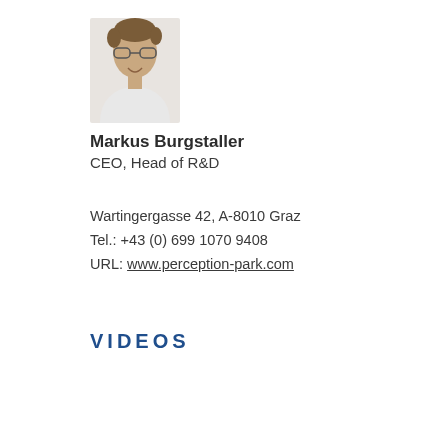[Figure (photo): Headshot photo of Markus Burgstaller, a man wearing glasses, smiling, against a white background]
Markus Burgstaller
CEO, Head of R&D
Wartingergasse 42, A-8010 Graz
Tel.: +43 (0) 699 1070 9408
URL: www.perception-park.com
VIDEOS